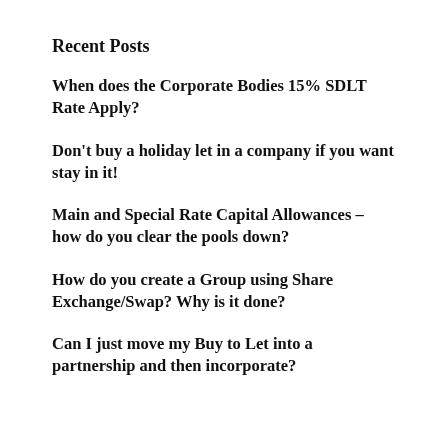Recent Posts
When does the Corporate Bodies 15% SDLT Rate Apply?
Don't buy a holiday let in a company if you want stay in it!
Main and Special Rate Capital Allowances – how do you clear the pools down?
How do you create a Group using Share Exchange/Swap? Why is it done?
Can I just move my Buy to Let into a partnership and then incorporate?